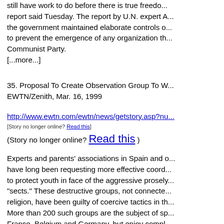still have work to do before there is true freedom... report said Tuesday. The report by U.N. expert A... the government maintained elaborate controls o... to prevent the emergence of any organization th... Communist Party.
[...more...]
35. Proposal To Create Observation Group To W... EWTN/Zenith, Mar. 16, 1999
http://www.ewtn.com/ewtn/news/getstory.asp?nu...
[Story no longer online? Read this]
(Story no longer online? Read this)
Experts and parents' associations in Spain and o... have long been requesting more effective coord... to protect youth in face of the aggressive prosely... "sects." These destructive groups, not connecte... religion, have been guilty of coercive tactics in th... More than 200 such groups are the subject of sp... France, Belgium and Germany, but enjoy compl...